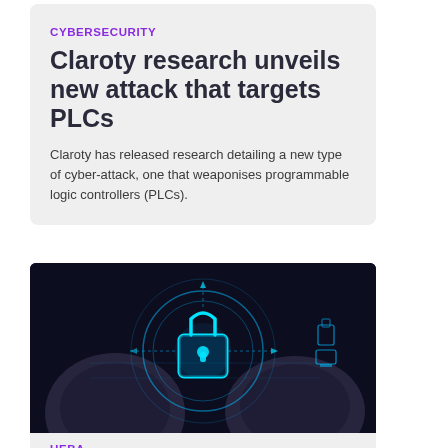CYBERSECURITY
Claroty research unveils new attack that targets PLCs
Claroty has released research detailing a new type of cyber-attack, one that weaponises programmable logic controllers (PLCs).
[Figure (photo): Person in dark suit holding a glowing digital padlock with cybersecurity network graphics in blue light]
UEBA